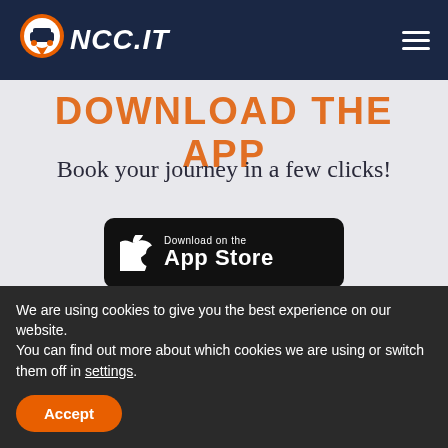NCC.IT
DOWNLOAD THE APP
Book your journey in a few clicks!
[Figure (logo): Download on the App Store button (black rounded rectangle with Apple logo)]
[Figure (logo): Get it on Google Play button (black rounded rectangle with Google Play logo)]
We are using cookies to give you the best experience on our website.
You can find out more about which cookies we are using or switch them off in settings.
Accept